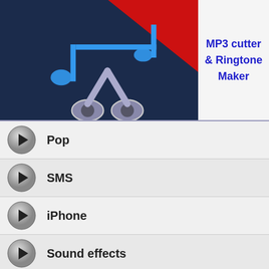[Figure (screenshot): App icon for MP3 cutter and Ringtone Maker showing music scissors logo on dark blue and red background]
MP3 cutter & Ringtone Maker
Pop
SMS
iPhone
Sound effects
Rap - Hip Hop
Classical
Samsung